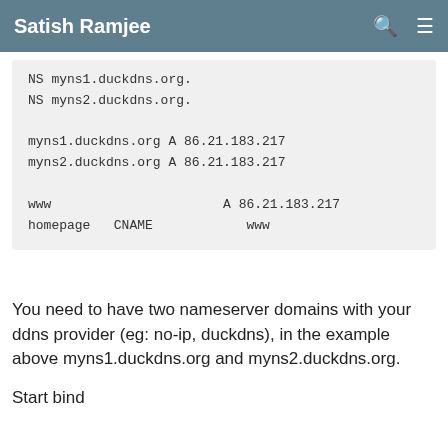Satish Ramjee
NS myns1.duckdns.org.
NS myns2.duckdns.org.

myns1.duckdns.org A 86.21.183.217
myns2.duckdns.org A 86.21.183.217

www                         A 86.21.183.217
homepage   CNAME            www
You need to have two nameserver domains with your ddns provider (eg: no-ip, duckdns), in the example above myns1.duckdns.org and myns2.duckdns.org.
Start bind